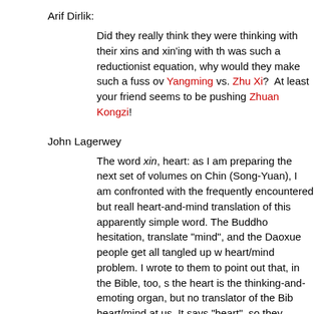Arif Dirlik:
Did they really think they were thinking with their xins and xin'ing with their brains?  If the equation was such a reductionist equation, why would they make such a fuss over Wang Yangming vs. Zhu Xi?  At least your friend seems to be pushing Zhuangzi at Kongzi!
John Lagerwey
The word xin, heart: as I am preparing the next set of volumes on Chinese history (Song-Yuan), I am confronted with the frequently encountered but really very difficult heart-and-mind translation of this apparently simple word. The Buddhologists, without hesitation, translate "mind", and the Daoxue people get all tangled up with the heart/mind problem. I wrote to them to point out that, in the Bible, too, scientifically, the heart is the thinking-and-emoting organ, but no translator of the Bible throws heart/mind at us. It says "heart", so they translate "heart"
I guess that's why the Buddhologists opt for "mind" even when it says grasping the heart". And of course Zhuangzi already said clearly that the heart was the lord of the body, so there can be no doubt that, for the Chinese, in Chinese, xin means a heart that does all the jobs we associate with cognition. This is why, in the end, the Chinese prefer, epistemologically speaking, intuition and synthesis to analytic logic and discursive thinking.
I usually avoid "heart-mind" because I think it's too clunky and not accu